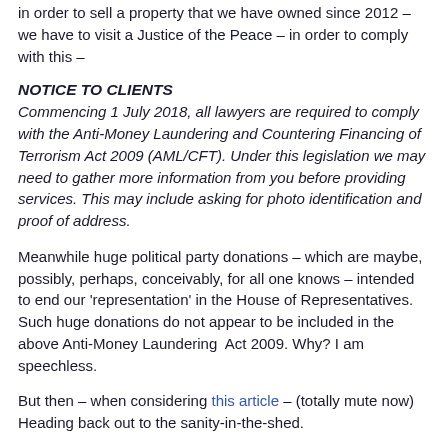in order to sell a property that we have owned since 2012 – we have to visit a Justice of the Peace – in order to comply with this –
NOTICE TO CLIENTS
Commencing 1 July 2018, all lawyers are required to comply with the Anti-Money Laundering and Countering Financing of Terrorism Act 2009 (AML/CFT). Under this legislation we may need to gather more information from you before providing services. This may include asking for photo identification and proof of address.
Meanwhile huge political party donations – which are maybe, possibly, perhaps, conceivably, for all one knows – intended to end our 'representation' in the House of Representatives. Such huge donations do not appear to be included in the above Anti-Money Laundering  Act 2009. Why? I am speechless.
But then – when considering this article – (totally mute now) Heading back out to the sanity-in-the-shed.
Posted in: News